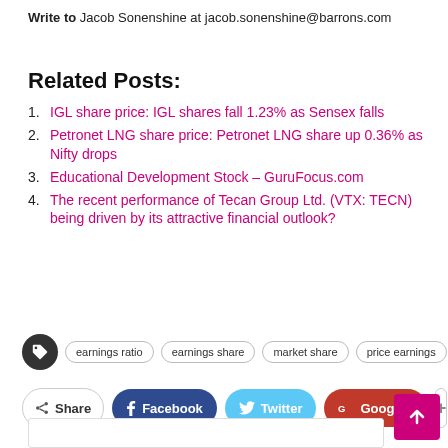Write to Jacob Sonenshine at jacob.sonenshine@barrons.com
Related Posts:
IGL share price: IGL shares fall 1.23% as Sensex falls
Petronet LNG share price: Petronet LNG share up 0.36% as Nifty drops
Educational Development Stock – GuruFocus.com
The recent performance of Tecan Group Ltd. (VTX: TECN) being driven by its attractive financial outlook?
earnings ratio | earnings share | market share | price earnings
Share | Facebook | Twitter | Google+